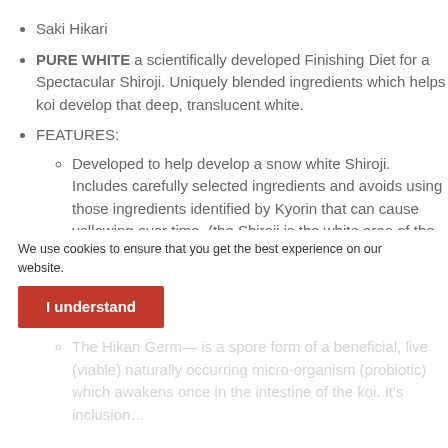Saki Hikari
PURE WHITE a scientifically developed Finishing Diet for a Spectacular Shiroji. Uniquely blended ingredients which helps koi develop that deep, translucent white.
FEATURES:
Developed to help develop a snow white Shiroji. Includes carefully selected ingredients and avoids using those ingredients identified by Kyorin that can cause yellowing over time. (the Shiroji is the white area of the koi).
Milled sesame Seed contains desirable antioxidants which can improve gloss and
We use cookies to ensure that you get the best experience on our website.
The Hikan Germ— is a spore form of a beneficial, live (viable) naturally occurring micro-organism (probiotic) which awakens once in the intestine of the koi. It's inclusion…